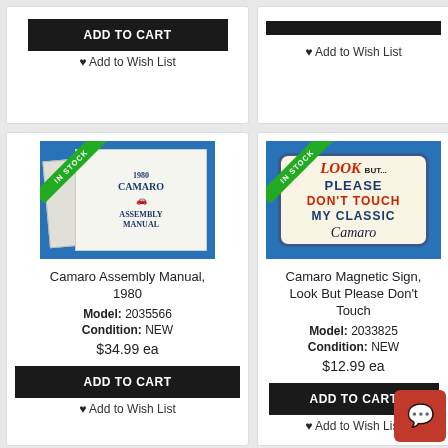[Figure (screenshot): Top partial card left — ADD TO CART button and Add to Wish List link]
[Figure (screenshot): Top partial card right — Add to Wish List link]
[Figure (photo): 1980 Camaro Assembly Manual book cover with IN STOCK ribbon]
Camaro Assembly Manual, 1980
Model: 2035566
Condition: NEW
$34.99 ea
ADD TO CART
Add to Wish List
[Figure (photo): Camaro Magnetic Sign — LOOK BUT... PLEASE DON'T TOUCH MY CLASSIC Camaro — with IN STOCK ribbon]
Camaro Magnetic Sign, Look But Please Don't Touch
Model: 2033825
Condition: NEW
$12.99 ea
ADD TO CART
Add to Wish List